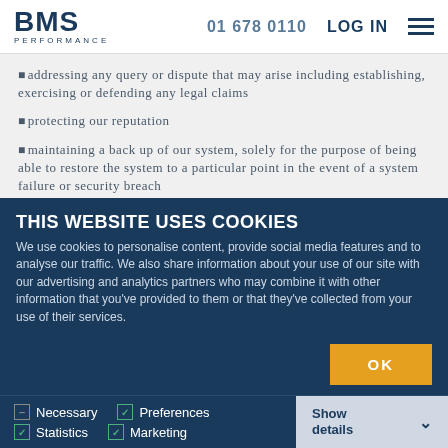BMS PERFORMANCE | 01 678 0110 | LOG IN
addressing any query or dispute that may arise including establishing, exercising or defending any legal claims
protecting our reputation
maintaining a back up of our system, solely for the purpose of being able to restore the system to a particular point in the event of a system failure or security breach
evaluating quality and compliance including compliance with
THIS WEBSITE USES COOKIES
We use cookies to personalise content, provide social media features and to analyse our traffic. We also share information about your use of our site with our advertising and analytics partners who may combine it with other information that you've provided to them or that they've collected from your use of their services.